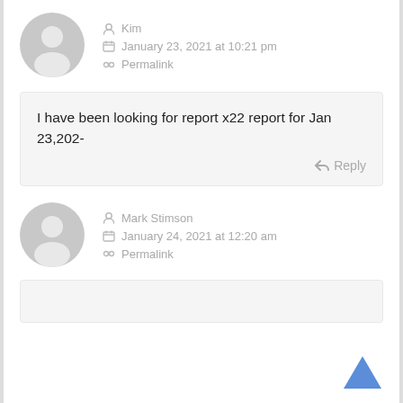[Figure (illustration): Default gray user avatar icon (circle with person silhouette) for user Kim]
Kim
January 23, 2021 at 10:21 pm
Permalink
I have been looking for report x22 report for Jan 23,202-
Reply
[Figure (illustration): Default gray user avatar icon (circle with person silhouette) for user Mark Stimson]
Mark Stimson
January 24, 2021 at 12:20 am
Permalink